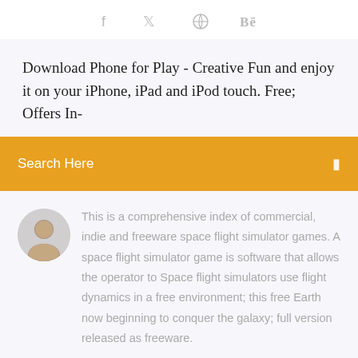f  🐦  ⊕  Bē
Download Phone for Play - Creative Fun and enjoy it on your iPhone, iPad and iPod touch. Free; Offers In-
Search Here
This is a comprehensive index of commercial, indie and freeware space flight simulator games. A space flight simulator game is software that allows the operator to Space flight simulators use flight dynamics in a free environment; this free Earth now beginning to conquer the galaxy; full version released as freeware.